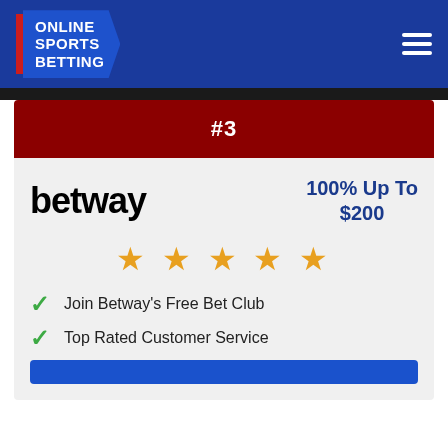ONLINE SPORTS BETTING
#3
[Figure (logo): Betway logo in bold black text]
100% Up To $200
[Figure (infographic): Five orange star rating]
Join Betway's Free Bet Club
Top Rated Customer Service